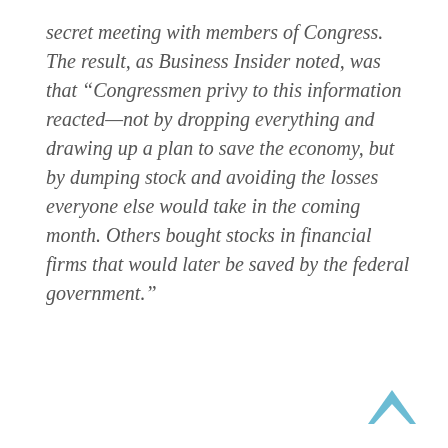secret meeting with members of Congress. The result, as Business Insider noted, was that “Congressmen privy to this information reacted—not by dropping everything and drawing up a plan to save the economy, but by dumping stock and avoiding the losses everyone else would take in the coming month. Others bought stocks in financial firms that would later be saved by the federal government.”
[Figure (other): Blue upward-pointing chevron/arrow icon in the bottom-right corner]